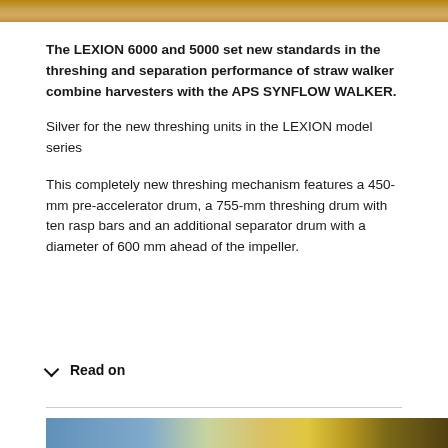[Figure (photo): Top edge of a harvester machine image, cropped at the very top of the page]
The LEXION 6000 and 5000 set new standards in the threshing and separation performance of straw walker combine harvesters with the APS SYNFLOW WALKER.
Silver for the new threshing units in the LEXION model series
This completely new threshing mechanism features a 450-mm pre-accelerator drum, a 755-mm threshing drum with ten rasp bars and an additional separator drum with a diameter of 600 mm ahead of the impeller.
Read on
[Figure (photo): Bottom portion showing a combine harvester against a sky background, partially visible]